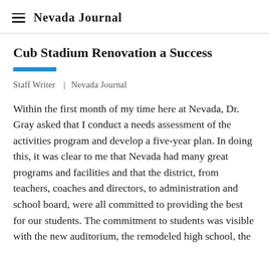Nevada Journal
Cub Stadium Renovation a Success
Staff Writer  |  Nevada Journal
Within the first month of my time here at Nevada, Dr. Gray asked that I conduct a needs assessment of the activities program and develop a five-year plan. In doing this, it was clear to me that Nevada had many great programs and facilities and that the district, from teachers, coaches and directors, to administration and school board, were all committed to providing the best for our students. The commitment to students was visible with the new auditorium, the remodeled high school, the